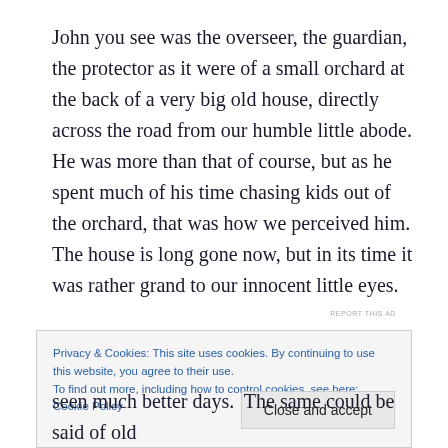John you see was the overseer, the guardian, the protector as it were of a small orchard at the back of a very big old house, directly across the road from our humble little abode. He was more than that of course, but as he spent much of his time chasing kids out of the orchard, that was how we perceived him.  The house is long gone now, but in its time it was rather grand to our innocent little eyes.
REPORT THIS AD
Privacy & Cookies: This site uses cookies. By continuing to use this website, you agree to their use.
To find out more, including how to control cookies, see here: Cookie Policy
Close and accept
seen much better days.  The same could be said of old